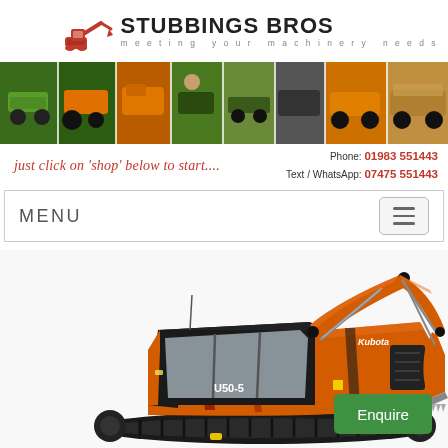[Figure (logo): Stubbings Bros logo with red excavator icon and text 'STUBBINGS BROS / meeting your machinery needs']
[Figure (photo): Horizontal banner strip showing multiple photos of agricultural and construction machinery including tractors, excavators, mowers, and utility vehicles]
just click on 'shop' below to start....
Phone: 01983 551443
Text / WhatsApp: 07475 551443
MENU
[Figure (photo): Kubota U50-5 mini excavator / compact excavator in orange color with black tracks, shown with arm extended and bucket lowered, on white background]